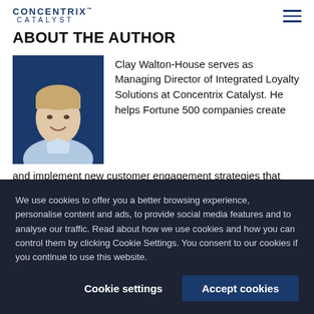CONCENTRIX CATALYST
ABOUT THE AUTHOR
[Figure (photo): Headshot of Clay Walton-House, a man smiling in a light blue shirt against a dark blue background]
Clay Walton-House serves as Managing Director of Integrated Loyalty Solutions at Concentrix Catalyst. He helps Fortune 500 companies create and implement new customer engagement strategies that accelerate growth and build loyalty. His expertise lies in understanding
We use cookies to offer you a better browsing experience, personalise content and ads, to provide social media features and to analyse our traffic. Read about how we use cookies and how you can control them by clicking Cookie Settings. You consent to our cookies if you continue to use this website.
Cookie settings | Accept cookies